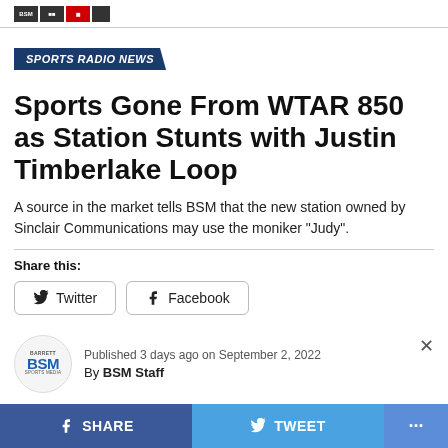[Figure (logo): BSM Barrett Sports Media logo boxes in header]
SPORTS RADIO NEWS
Sports Gone From WTAR 850 as Station Stunts with Justin Timberlake Loop
A source in the market tells BSM that the new station owned by Sinclair Communications may use the moniker “Judy”.
Share this:
Twitter
Facebook
Published 3 days ago on September 2, 2022
By BSM Staff
SHARE   TWEET   ...